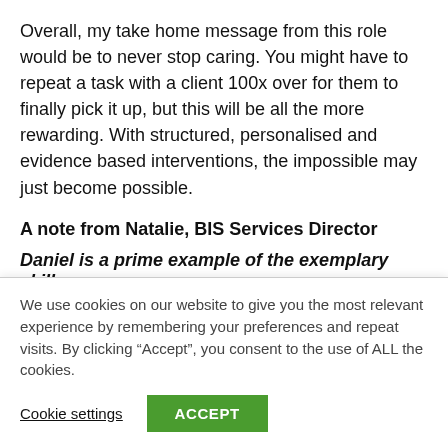Overall, my take home message from this role would be to never stop caring. You might have to repeat a task with a client 100x over for them to finally pick it up, but this will be all the more rewarding. With structured, personalised and evidence based interventions, the impossible may just become possible.
A note from Natalie, BIS Services Director
Daniel is a prime example of the exemplary skills needed to be a successful BA. His commitment to
We use cookies on our website to give you the most relevant experience by remembering your preferences and repeat visits. By clicking “Accept”, you consent to the use of ALL the cookies.
Cookie settings
ACCEPT